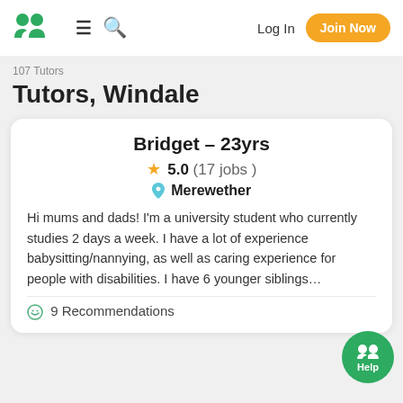Log In | Join Now
107 Tutors
Tutors, Windale
Bridget - 23yrs
★ 5.0 (17 jobs)
📍 Merewether

Hi mums and dads! I'm a university student who currently studies 2 days a week. I have a lot of experience babysitting/nannying, as well as caring experience for people with disabilities. I have 6 younger siblings...

😊 9 Recommendations